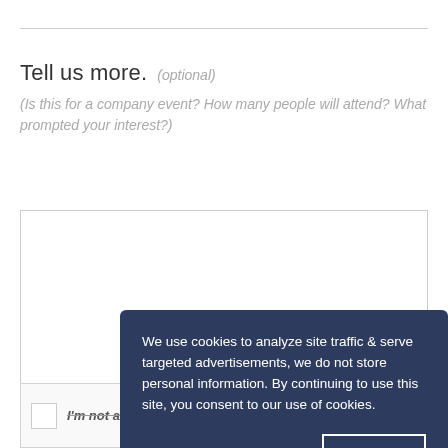Tell us more.  (optional)
(Is this for a company event? How many people will attend? What prompted your interest?)
We use cookies to analyze site traffic & serve targeted advertisements, we do not store personal information. By continuing to use this site, you consent to our use of cookies.
Learn more
I accept
I'm not a robot
reCAPTCHA